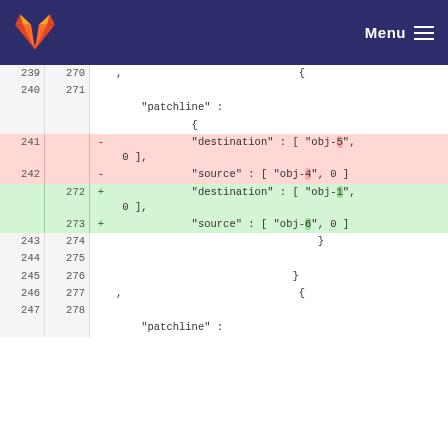GitLab Menu
| old_ln | new_ln | sign | code |
| --- | --- | --- | --- |
| 239 | 270 |  | ,                            { |
| 240 | 271 |  |  |
|  |  |  |     "patchline" : |
|  |  |  |             { |
| 241 |  |   - |             "destination" : [ "obj-5",  0 ], |
| 242 |  |   - |             "source" : [ "obj-4", 0 ] |
|  | 272 |   + |             "destination" : [ "obj-1",  0 ], |
|  | 273 |   + |             "source" : [ "obj-6", 0 ] |
| 243 | 274 |  |                                 } |
| 244 | 275 |  |  |
| 245 | 276 |  |                             } |
| 246 | 277 |  | ,                            { |
| 247 | 278 |  |  |
|  |  |  |     "patchline" : |